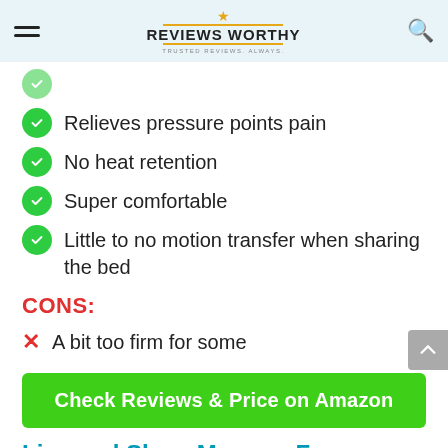Reviews Worthy — Trusted Reviews. Always.
(partial, cut off at top)
Relieves pressure points pain
No heat retention
Super comfortable
Little to no motion transfer when sharing the bed
CONS:
A bit too firm for some
Check Reviews & Price on Amazon
Live and Sleep Memory Foam